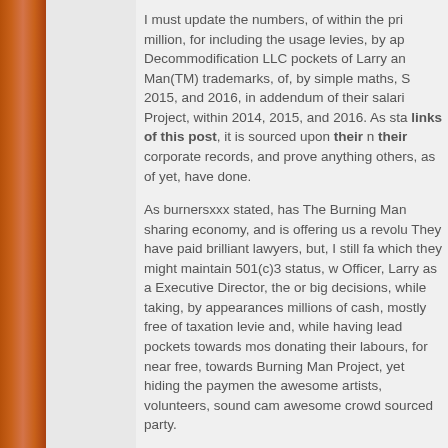I must update the numbers, of within the pri million, for including the usage levies, by ap Decommodification LLC pockets of Larry an Man(TM) trademarks, of, by simple maths, S 2015, and 2016, in addendum of their salari Project, within 2014, 2015, and 2016. As sta links of this post, it is sourced upon their n their corporate records, and prove anything others, as of yet, have done.
As burnersxxx stated, has The Burning Man sharing economy, and is offering us a revolu They have paid brilliant lawyers, but, I still fa which they might maintain 501(c)3 status, w Officer, Larry as a Executive Director, the or big decisions, while taking, by appearances millions of cash, mostly free of taxation levie and, while having lead pockets towards mos donating their labours, for near free, towards Burning Man Project, yet hiding the paymen the awesome artists, volunteers, sound cam awesome crowd sourced party.